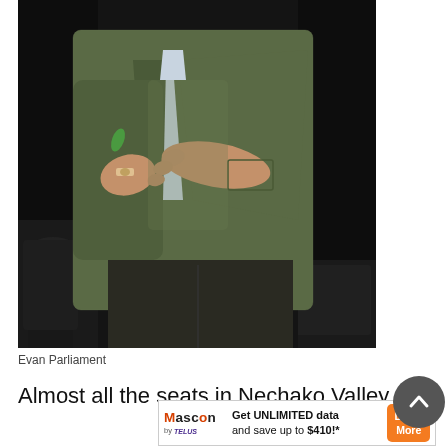[Figure (photo): A person wearing a green/olive plaid blazer and dark pants standing against a dark background, arms crossed, partially cropped showing torso and hands only. A chair is partially visible in the lower left.]
Evan Parliament
Almost all the seats in Nechako Valley Secondary Schoˆl's
[Figure (other): Advertisement banner: Mascon by TELUS logo on left, text 'Get UNLIMITED data and save up to $410!*' in center, orange 'Learn More' button on right.]